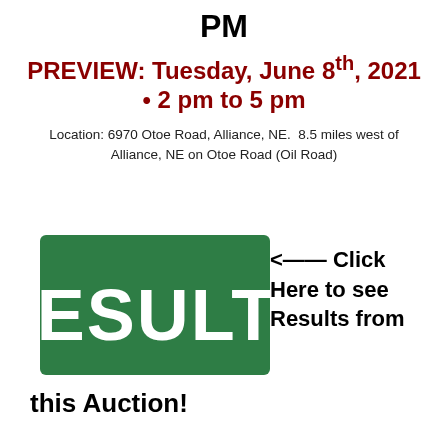PM
PREVIEW: Tuesday, June 8th, 2021 • 2 pm to 5 pm
Location: 6970 Otoe Road, Alliance, NE.  8.5 miles west of Alliance, NE on Otoe Road (Oil Road)
[Figure (logo): RESULTS logo — white text on dark green rectangle background]
<— Click Here to see Results from this Auction!